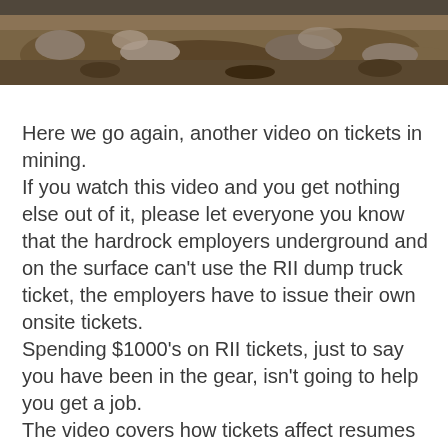[Figure (photo): Mining site photo showing rocks, gravel and earthen terrain at the top of the page]
Here we go again, another video on tickets in mining.
If you watch this video and you get nothing else out of it, please let everyone you know that the hardrock employers underground and on the surface can't use the RII dump truck ticket, the employers have to issue their own onsite tickets.
Spending $1000's on RII tickets, just to say you have been in the gear, isn't going to help you get a job.
The video covers how tickets affect resumes and what the employers want to see.
Please share this video if you know someone thinking about spending big money on tickets